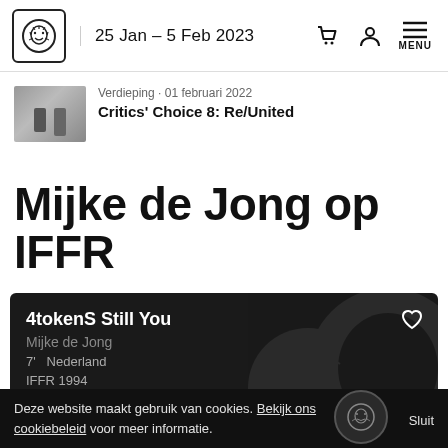25 Jan – 5 Feb 2023
Verdieping · 01 februari 2022
Critics' Choice 8: Re/United
Mijke de Jong op IFFR
4tokenS Still You
Mijke de Jong
7'  Nederland
IFFR 1994
Deze website maakt gebruik van cookies. Bekijk ons cookiebeleid voor meer informatie.